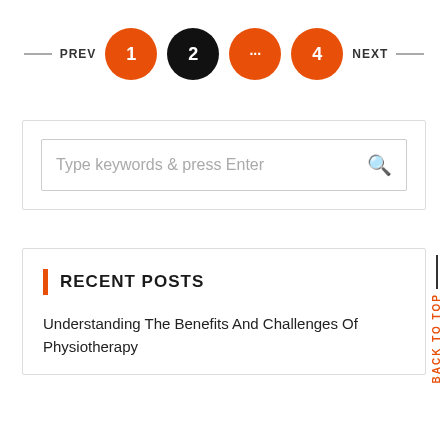[Figure (other): Pagination navigation with PREV and NEXT labels and page number circles: 1 (orange), 2 (black/active), ... (orange), 4 (orange)]
Type keywords & press Enter
RECENT POSTS
Understanding The Benefits And Challenges Of Physiotherapy